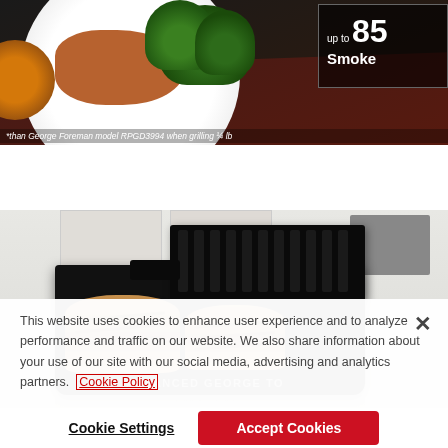[Figure (photo): Food photo showing a white plate with grilled chicken in sauce and broccoli on a red cloth background. Top right overlay shows 'up to 85% Smoke' text on dark background. Footnote reads '*than George Foreman model RPGD3994 when grilling ¼ lb']
[Figure (photo): Photo of a black George Foreman style contact grill on a light countertop with two grilled sandwiches/bread on the grill plates]
This website uses cookies to enhance user experience and to analyze performance and traffic on our website. We also share information about your use of our site with our social media, advertising and analytics partners. Cookie Policy
ADVANCED GEORGE TO... COATING
Cookie Settings
Accept Cookies